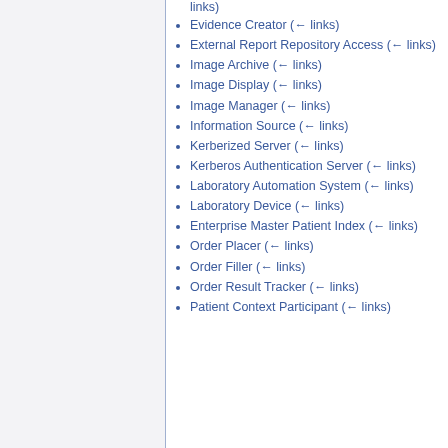links)
Evidence Creator  (← links)
External Report Repository Access  (← links)
Image Archive  (← links)
Image Display  (← links)
Image Manager  (← links)
Information Source  (← links)
Kerberized Server  (← links)
Kerberos Authentication Server  (← links)
Laboratory Automation System  (← links)
Laboratory Device  (← links)
Enterprise Master Patient Index  (← links)
Order Placer  (← links)
Order Filler  (← links)
Order Result Tracker  (← links)
Patient Context Participant  (← links)